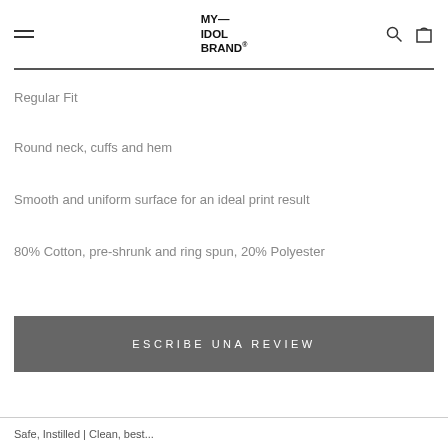MY—
IDOL
BRAND®
Regular Fit
Round neck, cuffs and hem
Smooth and uniform surface for an ideal print result
80% Cotton, pre-shrunk and ring spun, 20% Polyester
ESCRIBE UNA REVIEW
Safe, Instilled | Clean, best...